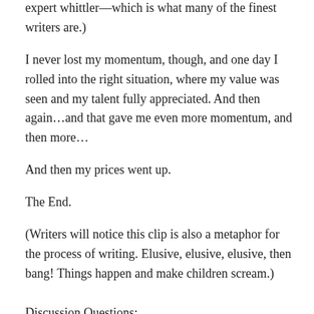expert whittler—which is what many of the finest writers are.)
I never lost my momentum, though, and one day I rolled into the right situation, where my value was seen and my talent fully appreciated. And then again…and that gave me even more momentum, and then more…
And then my prices went up.
The End.
(Writers will notice this clip is also a metaphor for the process of writing. Elusive, elusive, elusive, then bang! Things happen and make children scream.)
Discussion Questions: